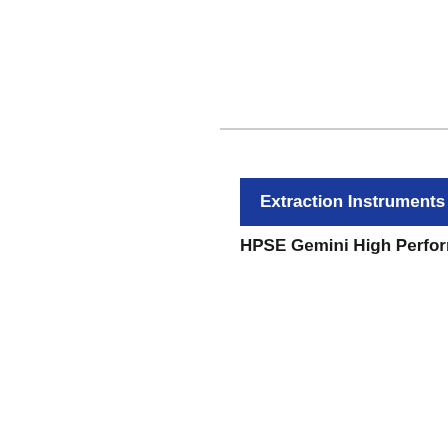Extraction Instruments
HPSE Gemini High Performance Solv...